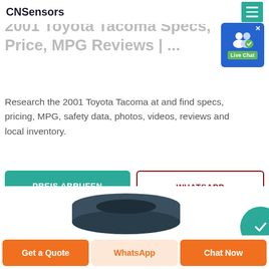CNSensors
2001 Toyota Tacoma Specs, Price, MPG Reviews | ...
Research the 2001 Toyota Tacoma at and find specs, pricing, MPG, safety data, photos, videos, reviews and local inventory.
PREIS ABRUFEN | WHATSAPP
[Figure (photo): Product sensor image (partial, dark cylindrical object visible at bottom left)]
[Figure (illustration): Teal circular icon (partial, bottom right)]
Get a Quote | WhatsApp | Chat Now